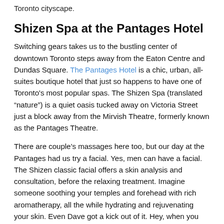Toronto cityscape.
Shizen Spa at the Pantages Hotel
Switching gears takes us to the bustling center of downtown Toronto steps away from the Eaton Centre and Dundas Square. The Pantages Hotel is a chic, urban, all-suites boutique hotel that just so happens to have one of Toronto's most popular spas. The Shizen Spa (translated “nature”) is a quiet oasis tucked away on Victoria Street just a block away from the Mirvish Theatre, formerly known as the Pantages Theatre.
There are couple’s massages here too, but our day at the Pantages had us try a facial. Yes, men can have a facial. The Shizen classic facial offers a skin analysis and consultation, before the relaxing treatment. Imagine someone soothing your temples and forehead with rich aromatherapy, all the while hydrating and rejuvenating your skin. Even Dave got a kick out of it. Hey, when you are over 40, all the age-defying tricks and techniques you can get are greatly welcomed.
The spa at the Pantages Hotel offers therapies from around the world, as well as specialists who will see that